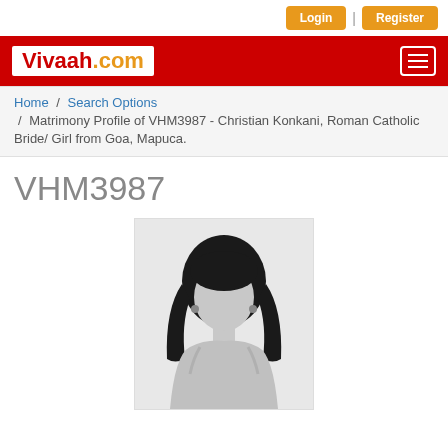Login | Register
[Figure (logo): Vivaah.com logo in red header bar with hamburger menu icon]
Home / Search Options / Matrimony Profile of VHM3987 - Christian Konkani, Roman Catholic Bride/ Girl from Goa, Mapuca.
VHM3987
[Figure (illustration): Generic silhouette placeholder image of a woman with dark hair and earrings]